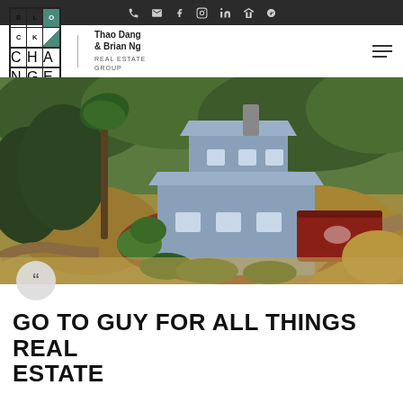Navigation icons: phone, email, facebook, instagram, linkedin, zillow, yelp
[Figure (logo): BlockChange Real Estate logo with agent names Thao Dang & Brian Ng, Real Estate Group]
[Figure (photo): Aerial drone photo of a large two-story blue/grey house with red deck, surrounded by circular driveway, palm tree, lush green hillside landscape]
GO TO GUY FOR ALL THINGS REAL ESTATE